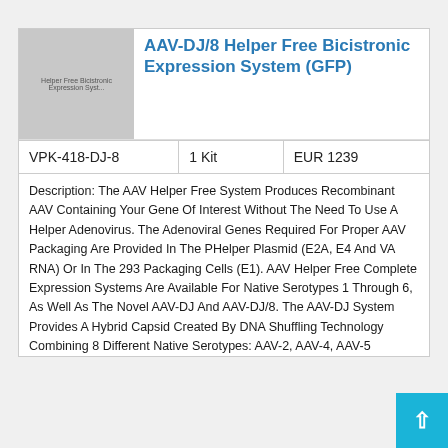[Figure (photo): Product image placeholder showing 'Helper Free Bicistronic Expression System' text on gray background]
AAV-DJ/8 Helper Free Bicistronic Expression System (GFP)
| SKU | Quantity | Price |
| --- | --- | --- |
| VPK-418-DJ-8 | 1 Kit | EUR 1239 |
Description: The AAV Helper Free System Produces Recombinant AAV Containing Your Gene Of Interest Without The Need To Use A Helper Adenovirus. The Adenoviral Genes Required For Proper AAV Packaging Are Provided In The PHelper Plasmid (E2A, E4 And VA RNA) Or In The 293 Packaging Cells (E1). AAV Helper Free Complete Expression Systems Are Available For Native Serotypes 1 Through 6, As Well As The Novel AAV-DJ And AAV-DJ/8. The AAV-DJ System Provides A Hybrid Capsid Created By DNA Shuffling Technology Combining 8 Different Native Serotypes: AAV-2, AAV-4, AAV-5...